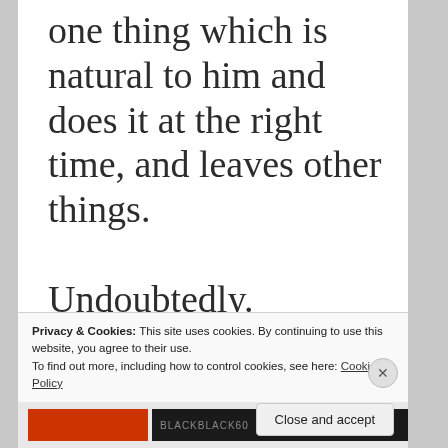one thing which is natural to him and does it at the right time, and leaves other things.

Undoubtedly.
Privacy & Cookies: This site uses cookies. By continuing to use this website, you agree to their use.
To find out more, including how to control cookies, see here: Cookie Policy